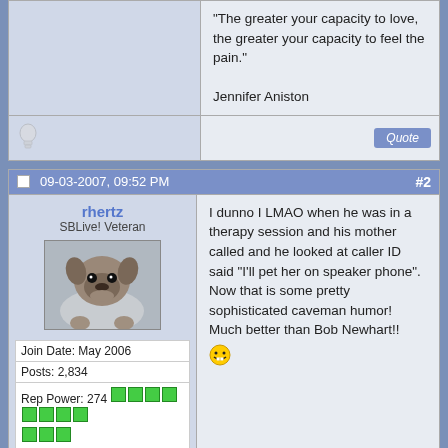"The greater your capacity to love, the greater your capacity to feel the pain."

Jennifer Aniston
09-03-2007, 09:52 PM
#2
rhertz
SBLive! Veteran
Join Date: May 2006
Posts: 2,834
Rep Power: 274
I dunno I LMAO when he was in a therapy session and his mother called and he looked at caller ID said "I'll pet her on speaker phone". Now that is some pretty sophisticated caveman humor! Much better than Bob Newhart!!
09-03-2007, 10:30 PM
#3